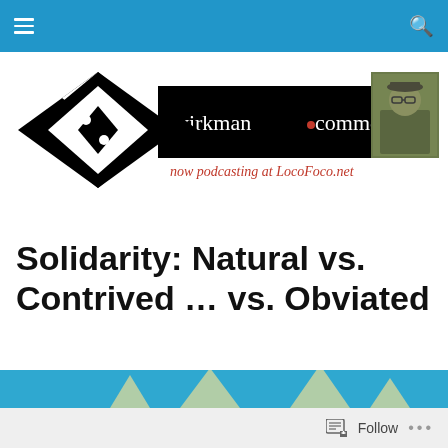wirkman•comment — now podcasting at LocoFoco.net
[Figure (logo): wirkman•comment blog logo with black diamond shape, white text 'wirkman•comment' on black band, red text 'now podcasting at LocoFoco.net', and a portrait photo on the right]
Solidarity: Natural vs. Contrived … vs. Obviated
[Figure (photo): Close-up photo of spiky plant thorns/spines against a bright blue background]
Follow ...